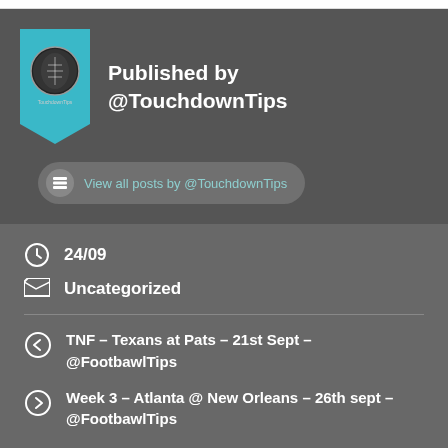[Figure (logo): TouchdownTips logo avatar inside a teal bookmark ribbon shape]
Published by @TouchdownTips
View all posts by @TouchdownTips
24/09
Uncategorized
TNF – Texans at Pats – 21st Sept – @FootbawlTips
Week 3 – Atlanta @ New Orleans – 26th sept – @FootbawlTips